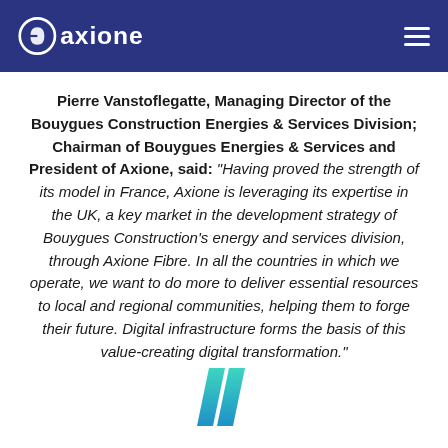Axione logo and navigation header
Pierre Vanstoflegatte, Managing Director of the Bouygues Construction Energies & Services Division; Chairman of Bouygues Energies & Services and President of Axione, said: “Having proved the strength of its model in France, Axione is leveraging its expertise in the UK, a key market in the development strategy of Bouygues Construction’s energy and services division, through Axione Fibre. In all the countries in which we operate, we want to do more to deliver essential resources to local and regional communities, helping them to forge their future. Digital infrastructure forms the basis of this value-creating digital transformation.”
[Figure (logo): Two teal/cyan diagonal parallelogram slash shapes forming a decorative graphic mark at the bottom center of the page]